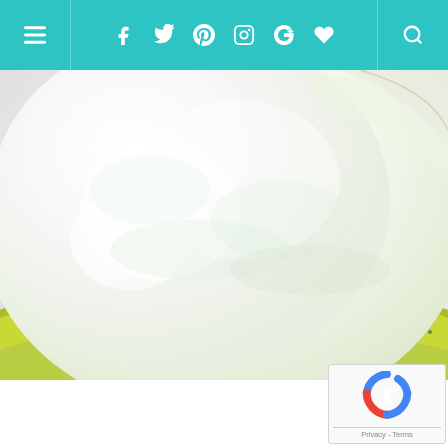Navigation bar with menu, social icons (Facebook, Twitter, Pinterest, Instagram, Google+, heart/favorites), and search
[Figure (photo): Close-up photo of a white powdery substance (likely flour or sugar) in a lime green speckled mixing bowl, viewed from above at an angle. The bowl has colorful red and blue speckle pattern on its rim. Background is white/light gray.]
[Figure (other): Google reCAPTCHA widget in bottom right corner showing the reCAPTCHA logo and Privacy/Terms links]